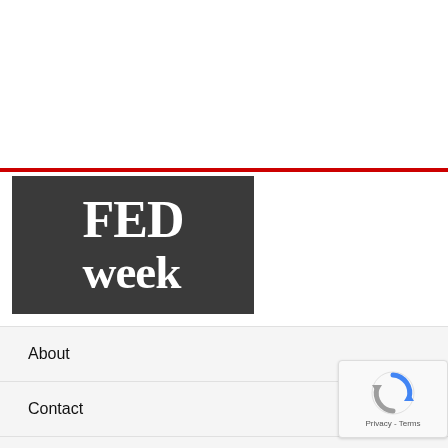[Figure (logo): FEDweek logo: dark gray/charcoal background with white serif bold text reading 'FED' on top line and 'week' on bottom line]
About
Contact
Advertisers
[Figure (other): Google reCAPTCHA badge in bottom right corner showing the reCAPTCHA icon and 'Privacy - Terms' text]